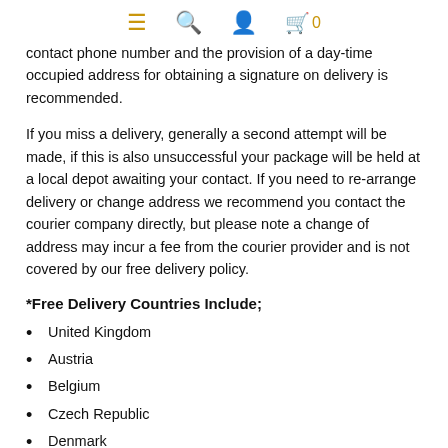≡ 🔍 👤 🛒 0
contact phone number and the provision of a day-time occupied address for obtaining a signature on delivery is recommended.
If you miss a delivery, generally a second attempt will be made, if this is also unsuccessful your package will be held at a local depot awaiting your contact. If you need to re-arrange delivery or change address we recommend you contact the courier company directly, but please note a change of address may incur a fee from the courier provider and is not covered by our free delivery policy.
*Free Delivery Countries Include;
United Kingdom
Austria
Belgium
Czech Republic
Denmark
Finland
France